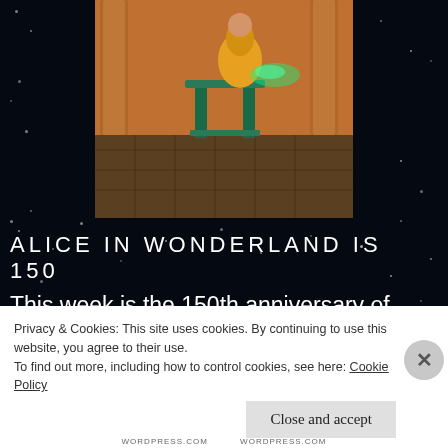[Figure (illustration): Fantasy illustration showing a figure in an orange/yellow dress at an ornate green table or stand, with architectural columns in the background, warm lighting]
ALICE IN WONDERLAND IS 150
This week is the 150th anniversary of Alice In Wonderland. Loving the celebratory book cover illustrations here: and have you seen the lovely stamps Royal Mail issued this
Privacy & Cookies: This site uses cookies. By continuing to use this website, you agree to their use.
To find out more, including how to control cookies, see here: Cookie Policy
Close and accept